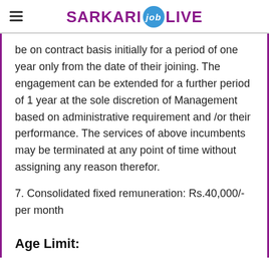SARKARI job LIVE
be on contract basis initially for a period of one year only from the date of their joining. The engagement can be extended for a further period of 1 year at the sole discretion of Management based on administrative requirement and /or their performance. The services of above incumbents may be terminated at any point of time without assigning any reason therefor.
7. Consolidated fixed remuneration: Rs.40,000/- per month
Age Limit: